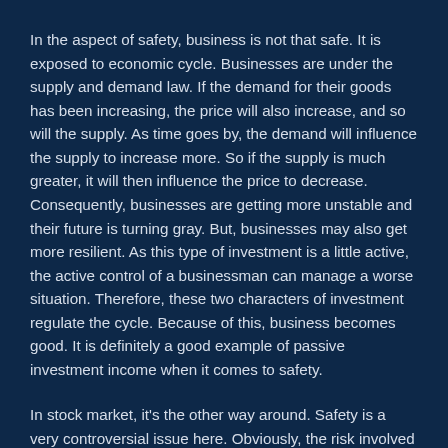In the aspect of safety, business is not that safe. It is exposed to economic cycle. Businesses are under the supply and demand law. If the demand for their goods has been increasing, the price will also increase, and so will the supply. As time goes by, the demand will influence the supply to increase more. So if the supply is much greater, it will then influence the price to decrease. Consequently, businesses are getting more unstable and their future is turning gray. But, businesses may also get more resilient. As this type of investment is a little active, the active control of a businessman can manage a worse situation. Therefore, these two characters of investment regulate the cycle. Because of this, business becomes good. It is definitely a good example of passive investment income when it comes to safety.
In stock market, it's the other way around. Safety is a very controversial issue here. Obviously, the risk involved here is very high. But the potential return is high, too. Passive investment income is more common in stock trading. Therefore, passive income is at the market of our...